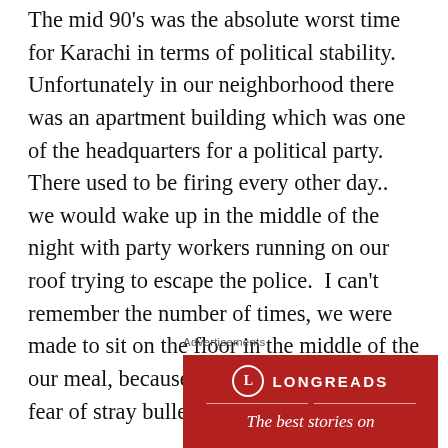The mid 90's was the absolute worst time for Karachi in terms of political stability. Unfortunately in our neighborhood there was an apartment building which was one of the headquarters for a political party. There used to be firing every other day.. we would wake up in the middle of the night with party workers running on our roof trying to escape the police.  I can't remember the number of times, we were made to sit on the floor in the middle of the our meal, because of the shooting and the fear of stray bullets.
Advertisements
[Figure (logo): Longreads advertisement banner in red with circular L logo, decorative horizontal rules, and tagline 'The best stories on']